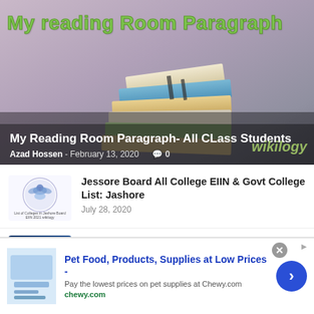[Figure (photo): Hero banner showing stacked books on a blurred purple/grey background with green title text 'My reading Room Paragraph' at top, and overlay showing article title, author, date, and wikilogy watermark]
My reading Room Paragraph
My Reading Room Paragraph- All CLass Students
Azad Hossen - February 13, 2020  0
[Figure (logo): Jessore Board circular logo with globe/dove illustration and text 'List of Colleges in Jashore Board EIIN 2021 wikilogy']
Jessore Board All College EIIN & Govt College List: Jashore
July 28, 2020
[Figure (photo): Open book with bright light/sparkles photo thumbnail]
Reading Books Paragraph for class 3, 4, 5, 6, 7, 8, 9, 10, 11, 12
[Figure (screenshot): Advertisement banner: Pet Food, Products, Supplies at Low Prices - Pay the lowest prices on pet supplies at Chewy.com]
Pet Food, Products, Supplies at Low Prices -
Pay the lowest prices on pet supplies at Chewy.com
chewy.com